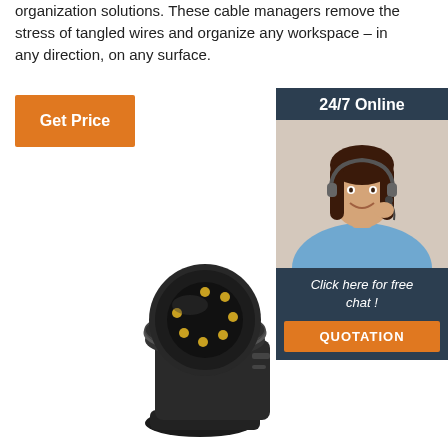…offers cable management and wire organization solutions. These cable managers remove the stress of tangled wires and organize any workspace – in any direction, on any surface.
[Figure (other): Orange 'Get Price' button]
[Figure (other): 24/7 Online support sidebar with customer service representative photo, 'Click here for free chat!' text, and orange QUOTATION button]
[Figure (photo): Black plastic trailer plug connector adapter with gold pins, viewed from front-side angle]